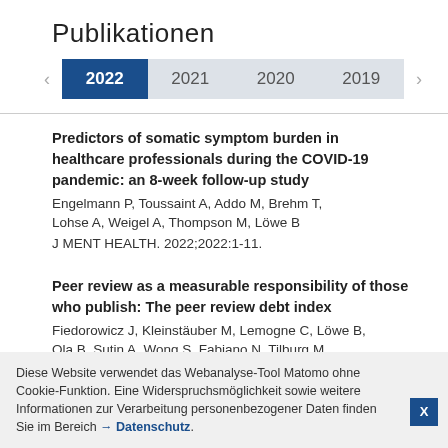Publikationen
< 2022 2021 2020 2019 >
Predictors of somatic symptom burden in healthcare professionals during the COVID-19 pandemic: an 8-week follow-up study
Engelmann P, Toussaint A, Addo M, Brehm T, Lohse A, Weigel A, Thompson M, Löwe B
J MENT HEALTH. 2022;2022:1-11.
Peer review as a measurable responsibility of those who publish: The peer review debt index
Fiedorowicz J, Kleinstäuber M, Lemogne C, Löwe B, Ola B, Sutin A, Wong S, Fabiano N, Tilburg M, Mikocka-Walus A
Diese Website verwendet das Webanalyse-Tool Matomo ohne Cookie-Funktion. Eine Widerspruchsmöglichkeit sowie weitere Informationen zur Verarbeitung personenbezogener Daten finden Sie im Bereich → Datenschutz.